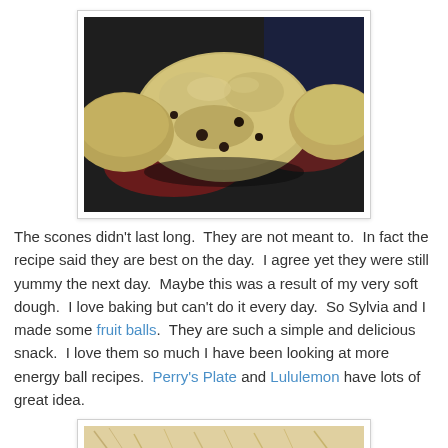[Figure (photo): Close-up photo of freshly baked scones with chocolate chips, arranged in a baking pan with red and dark backgrounds visible]
The scones didn't last long.  They are not meant to.  In fact the recipe said they are best on the day.  I agree yet they were still yummy the next day.  Maybe this was a result of my very soft dough.  I love baking but can't do it every day.  So Sylvia and I made some fruit balls.  They are such a simple and delicious snack.  I love them so much I have been looking at more energy ball recipes.  Perry's Plate and Lululemon have lots of great idea.
[Figure (photo): Partial photo at bottom of page showing what appears to be shredded or grated food item]